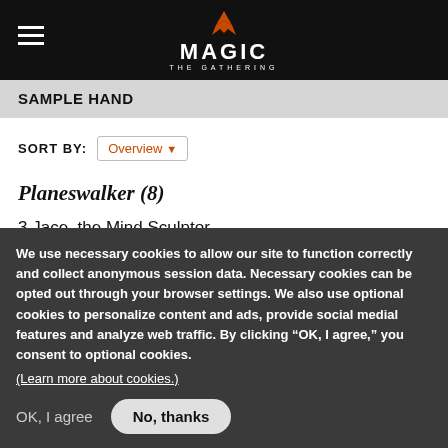Magic: The Gathering
SAMPLE HAND
SORT BY: Overview
Planeswalker (8)
3 Jace, the Mind Sculptor
2 Gideon Jura
2 Elspeth Tirel
1 Venser, the Sojourner
We use necessary cookies to allow our site to function correctly and collect anonymous session data. Necessary cookies can be opted out through your browser settings. We also use optional cookies to personalize content and ads, provide social medial features and analyze web traffic. By clicking “OK, I agree,” you consent to optional cookies. (Learn more about cookies.)
OK, I agree    No, thanks